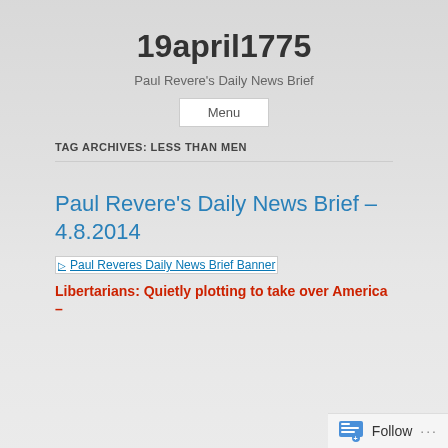19april1775
Paul Revere's Daily News Brief
Menu
TAG ARCHIVES: LESS THAN MEN
Paul Revere's Daily News Brief – 4.8.2014
[Figure (other): Paul Reveres Daily News Brief Banner image link]
Libertarians: Quietly plotting to take over America –
Follow …